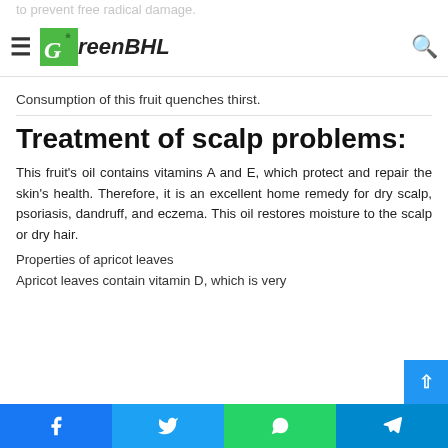GreenBHL
to prevent free radical damage.
Quenching thirst.
Consumption of this fruit quenches thirst.
Treatment of scalp problems:
This fruit's oil contains vitamins A and E, which protect and repair the skin's health. Therefore, it is an excellent home remedy for dry scalp, psoriasis, dandruff, and eczema. This oil restores moisture to the scalp or dry hair.
Properties of apricot leaves
Apricot leaves contain vitamin D, which is very
Facebook | Twitter | WhatsApp | Telegram